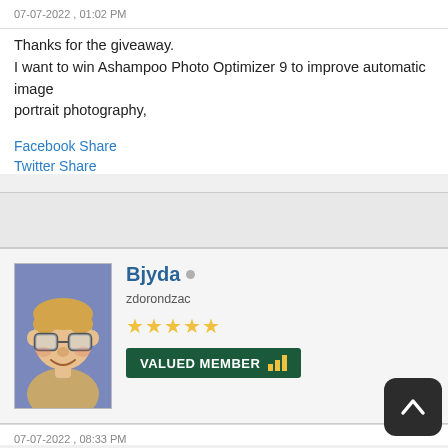07-07-2022 , 01:02 PM
Thanks for the giveaway.
I want to win Ashampoo Photo Optimizer 9 to improve automatic image portrait photography,
Facebook Share
Twitter Share
Bjyda
zdorondzac
★★★★★
VALUED MEMBER
07-07-2022 , 08:33 PM
Thank you tarekma7  for arranging the promotion and the o...ty